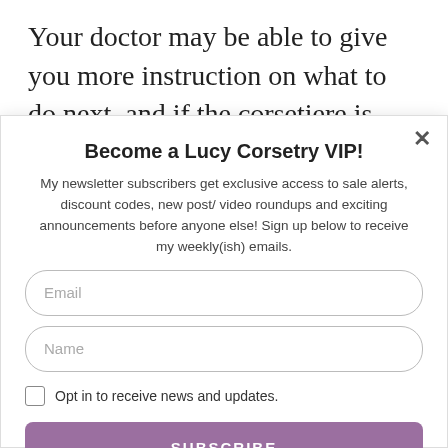Your doctor may be able to give you more instruction on what to do next, and if the corsetiere is experienced in working with insurance companies already, they may be able to
Become a Lucy Corsetry VIP!
My newsletter subscribers get exclusive access to sale alerts, discount codes, new post/ video roundups and exciting announcements before anyone else! Sign up below to receive my weekly(ish) emails.
Email
Name
Opt in to receive news and updates.
SUBSCRIBE